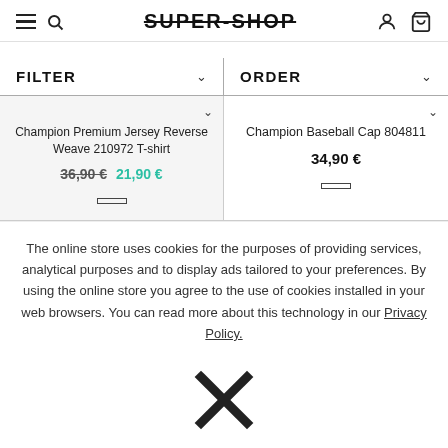SUPER-SHOP
FILTER
ORDER
Champion Premium Jersey Reverse Weave 210972 T-shirt
36,90 € 21,90 €
Champion Baseball Cap 804811
34,90 €
The online store uses cookies for the purposes of providing services, analytical purposes and to display ads tailored to your preferences. By using the online store you agree to the use of cookies installed in your web browsers. You can read more about this technology in our Privacy Policy.